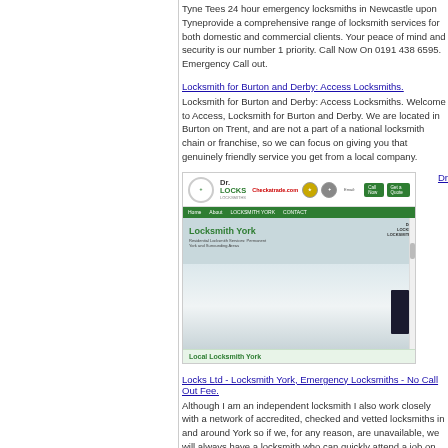Tyne Tees 24 hour emergency locksmiths in Newcastle upon Tyneprovide a comprehensive range of locksmith services for both domestic and commercial clients. Your peace of mind and security is our number 1 priority. Call Now On 0191 438 6595. Emergency Call out.
Locksmith for Burton and Derby: Access Locksmiths.
Locksmith for Burton and Derby: Access Locksmiths. Welcome to Access, Locksmith for Burton and Derby. We are located in Burton on Trent, and are not a part of a national locksmith chain or franchise, so we can focus on giving you that genuinely friendly service you get from a local company.
[Figure (screenshot): Screenshot of Dr. Locks Locksmiths website showing the Local Locksmith York page with logo, Checkatrade badge, navigation bar, and a photo of a person standing next to a branded van.]
Dr
Locks Ltd - Locksmith York, Emergency Locksmiths - No Call Out Fee.
Although I am an independent locksmith I also work closely with a network of accredited, checked and vetted locksmiths in and around York so if we, for any reason, are unavailable, we will always have a locksmith who can quickly attend a job on